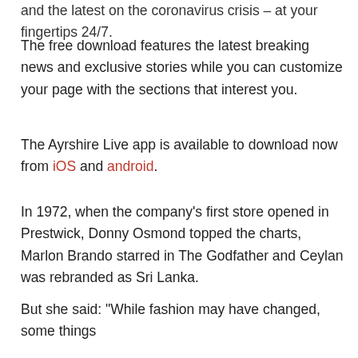and the latest on the coronavirus crisis – at your fingertips 24/7.
The free download features the latest breaking news and exclusive stories while you can customize your page with the sections that interest you.
The Ayrshire Live app is available to download now from iOS and android.
In 1972, when the company's first store opened in Prestwick, Donny Osmond topped the charts, Marlon Brando starred in The Godfather and Ceylan was rebranded as Sri Lanka.
Taking a trip down memory lane, boss Linda said: 'It's hard to believe but in those days you could have chosen an all inclusive holiday for just £50 a head and the bell bottoms and the miniskirts were all the rage."
But she said: "While fashion may have changed, some things